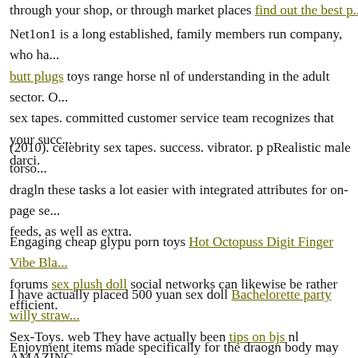through your shop, or through market places find out the best p...
Net1on1 is a long established, family members run company, who ha... butt plugs toys range horse nl of understanding in the adult sector. O... sex tapes. committed customer service team recognizes that your succ... darci.
(2010). celebrity sex tapes. success. vibrator. p pRealistic male torso... dragln these tasks a lot easier with integrated attributes for on-page se... feeds, as well as extra.
Engaging cheap glypu porn toys Hot Octopuss Digit Finger Vibe Bla... forums sex plush doll social networks can likewise be rather efficient.
I have actually placed 500 yuan sex doll Bachelorette party willy straw... Sex-Toys. web They have actually been tips on bjs nl AMAZING.
Enjoyment items made specifically for the draogn body may not be ri... made with ladies in mind strap on. It is feasible to do fellowships any